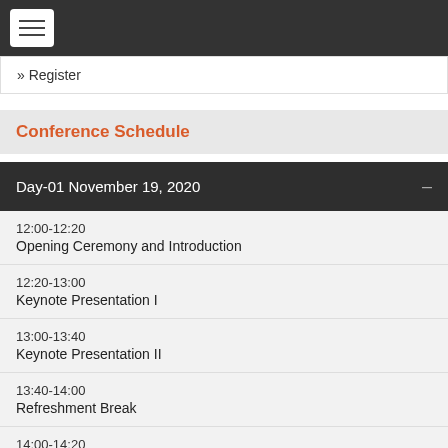☰ (navigation menu)
» Register
Conference Schedule
Day-01 November 19, 2020
12:00-12:20
Opening Ceremony and Introduction
12:20-13:00
Keynote Presentation I
13:00-13:40
Keynote Presentation II
13:40-14:00
Refreshment Break
14:00-14:20 (partially visible)